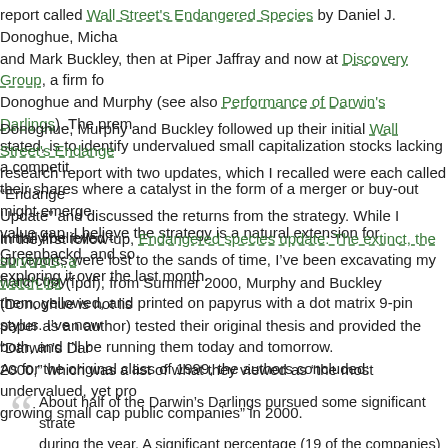report called Wall Street's Endangered Species by Daniel J. Donoghue, Micha and Mark Buckley, then at Piper Jaffray and now at Discovery Group, a firm fo Donoghue and Murphy (see also Performance of Darwin's Darlings). The pre stated, is to identify undervalued small capitalization stocks lacking a competit their shares where a catalyst in the form of a merger or buy-out might emerge value gap. I believe the strategy is a natural extension for Greenbackd, and so exploring it over the last month.
Donoghue, Murphy and Buckley followed up their initial Wall Street's Endange research report with two updates, which I recalled were each called “Endange Update” and discussed the returns from the strategy. While I initially believed t up reports were lost to the sands of time, I've been excavating my hard-copy f them, yellowed, and printed on papyrus with a dot matrix 9-pin stylus. I've now both, and I’ll be running them today and tomorrow.
In the first follow-up, Endangered species update: The extinct, the survivors, a watch list (.pdf), from Summer 2000, Murphy and Buckley (Donoghue is not lis paper as an author) tested their original thesis and provided the “Darwin’s Dar 2000,” which was a list of what they viewed as “the most undervalued, yet pro growing small cap public companies” in 2000.
As for the original class of 1999, the authors concluded:
About half of the Darwin’s Darlings pursued some significant strate during the year. A significant percentage (19 of the companies) pu